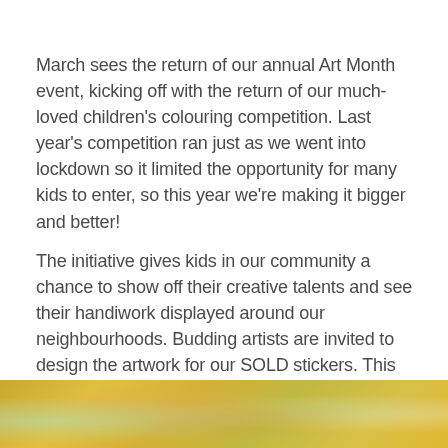March sees the return of our annual Art Month event, kicking off with the return of our much-loved children's colouring competition. Last year's competition ran just as we went into lockdown so it limited the opportunity for many kids to enter, so this year we're making it bigger and better!
The initiative gives kids in our community a chance to show off their creative talents and see their handiwork displayed around our neighbourhoods. Budding artists are invited to design the artwork for our SOLD stickers. This will be the competition's sixth year and we're excited to see what the kids come up with.
[Figure (photo): Partial view of colourful children's artwork or craft materials, showing warm yellow, orange and green tones at the bottom of the page.]